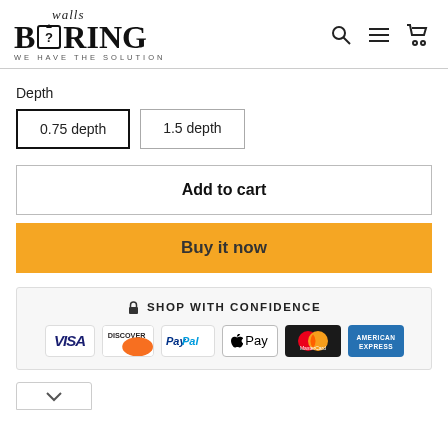[Figure (logo): Boring Walls logo with tagline WE HAVE THE SOLUTION and navigation icons (search, menu, cart)]
Depth
0.75 depth (selected)
1.5 depth
Add to cart
Buy it now
SHOP WITH CONFIDENCE
[Figure (infographic): Payment method logos: VISA, DISCOVER, PayPal, Apple Pay, MasterCard, American Express]